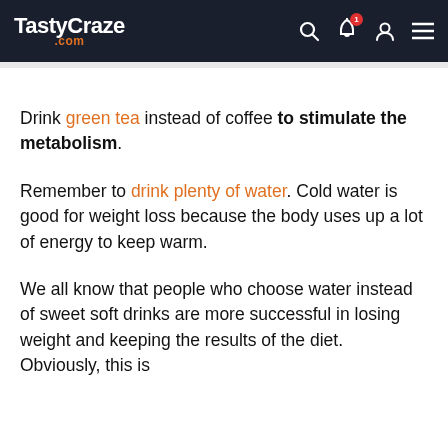TastyCraze .com
Drink green tea instead of coffee to stimulate the metabolism.
Remember to drink plenty of water. Cold water is good for weight loss because the body uses up a lot of energy to keep warm.
We all know that people who choose water instead of sweet soft drinks are more successful in losing weight and keeping the results of the diet. Obviously, this is